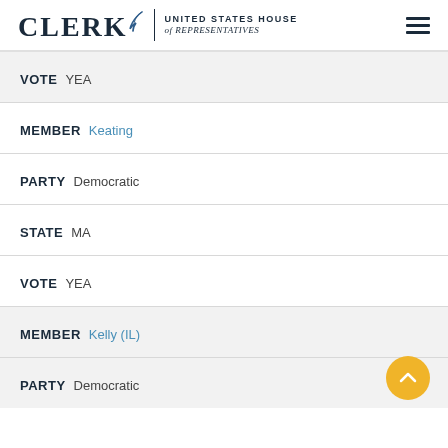CLERK United States House of Representatives
VOTE YEA
MEMBER Keating
PARTY Democratic
STATE MA
VOTE YEA
MEMBER Kelly (IL)
PARTY Democratic